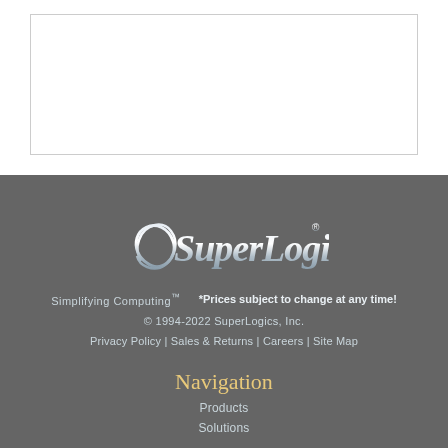[Figure (logo): SuperLogics logo - stylized silver italic text on dark gray background]
Simplifying Computing™     *Prices subject to change at any time!
© 1994-2022 SuperLogics, Inc.
Privacy Policy | Sales & Returns | Careers | Site Map
Navigation
Products
Solutions